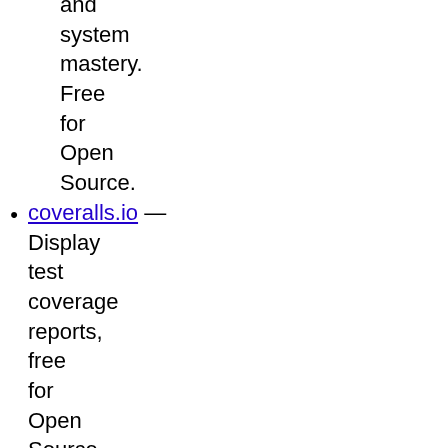and system mastery. Free for Open Source.
coveralls.io — Display test coverage reports, free for Open Source
dareboost - 5 free analysis report for web performance, accessibility,